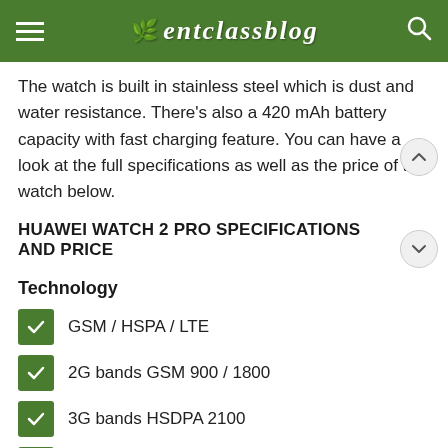entclassblog
The watch is built in stainless steel which is dust and water resistance. There's also a 420 mAh battery capacity with fast charging feature. You can have a look at the full specifications as well as the price of the watch below.
HUAWEI WATCH 2 PRO SPECIFICATIONS AND PRICE
Technology
GSM / HSPA / LTE
2G bands GSM 900 / 1800
3G bands HSDPA 2100
4G bands LTE
Speed HSPA, LTE